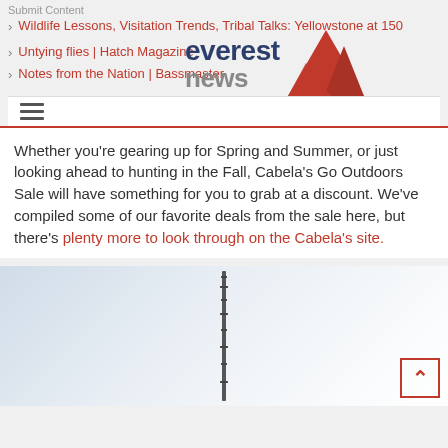Submit Content
Wildlife Lessons, Visitation Trends, Tribal Talks: Yellowstone at 150
[Figure (logo): Everest News logo with mountain triangle graphic in red]
Untying flies | Hatch Magazine
Notes from the Nation | Bassmaster
Whether you're gearing up for Spring and Summer, or just looking ahead to hunting in the Fall, Cabela's Go Outdoors Sale will have something for you to grab at a discount. We've compiled some of our favorite deals from the sale here, but there's plenty more to look through on the Cabela's site.
[Figure (photo): Product image showing a tall vertical dark pole or rod against a light gradient background]